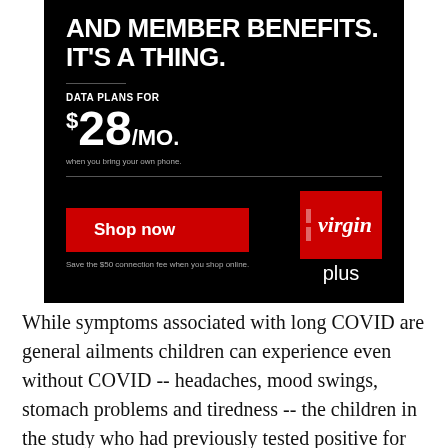[Figure (infographic): Virgin Plus advertisement on black background. Headline: 'AND MEMBER BENEFITS. IT'S A THING.' Data plans for $28/mo. when you bring your own phone. Red 'Shop now' button. Save the $50 connection fee when you shop online. Virgin plus logo in red box.]
While symptoms associated with long COVID are general ailments children can experience even without COVID -- headaches, mood swings, stomach problems and tiredness -- the children in the study who had previously tested positive for COVID were more likely to